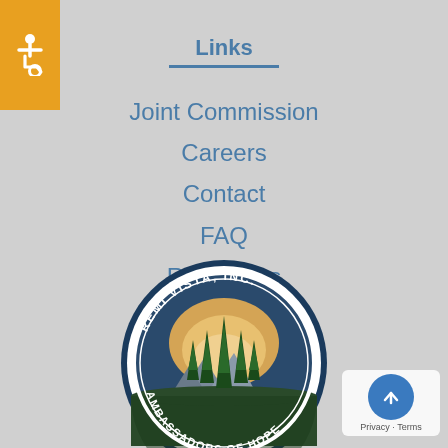[Figure (logo): Orange square accessibility badge with white wheelchair icon]
Links
Joint Commission
Careers
Contact
FAQ
Resources
[Figure (logo): Remi Vista, Inc. circular seal logo with trees and mountains, text reading REMI VISTA, INC. AMBASSADORS OF HOPE]
[Figure (other): Blue scroll-to-top button with upward arrow, Privacy and Terms text below]